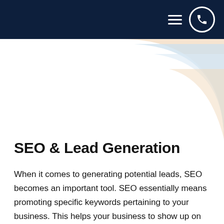[Navigation bar with hamburger menu and phone icon]
[Figure (illustration): Decorative concentric arc shapes in light blue and peach/beige tones in the upper right corner of the page]
SEO & Lead Generation
When it comes to generating potential leads, SEO becomes an important tool. SEO essentially means promoting specific keywords pertaining to your business. This helps your business to show up on the search engines whenever a user searches for those specific keywords. This helps in driving more traffic to your website and business.